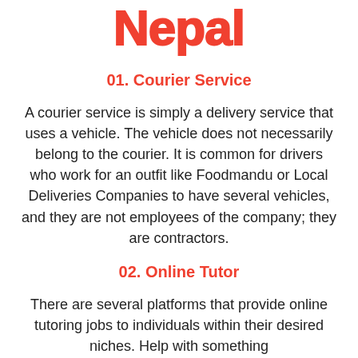Nepal
01. Courier Service
A courier service is simply a delivery service that uses a vehicle. The vehicle does not necessarily belong to the courier. It is common for drivers who work for an outfit like Foodmandu or Local Deliveries Companies to have several vehicles, and they are not employees of the company; they are contractors.
02. Online Tutor
There are several platforms that provide online tutoring jobs to individuals within their desired niches. Help with something